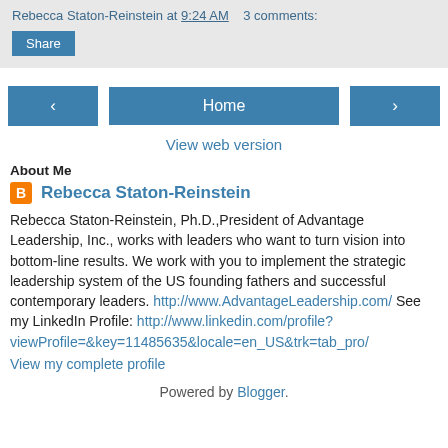Rebecca Staton-Reinstein at 9:24 AM   3 comments:
Share
[Figure (other): Navigation buttons: left arrow, Home, right arrow]
View web version
About Me
Rebecca Staton-Reinstein
Rebecca Staton-Reinstein, Ph.D.,President of Advantage Leadership, Inc., works with leaders who want to turn vision into bottom-line results. We work with you to implement the strategic leadership system of the US founding fathers and successful contemporary leaders. http://www.AdvantageLeadership.com/ See my LinkedIn Profile: http://www.linkedin.com/profile?viewProfile=&key=11485635&locale=en_US&trk=tab_pro/
View my complete profile
Powered by Blogger.